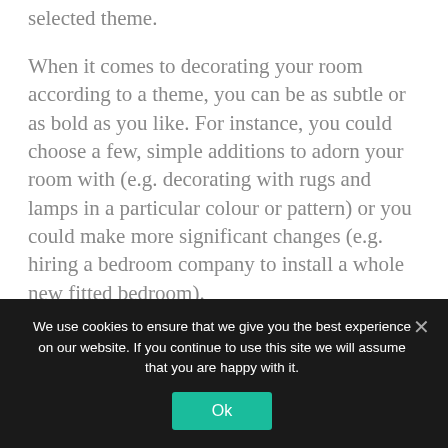selected theme.
When it comes to decorating your room according to a theme, you can be as subtle or as bold as you like. For instance, you could choose a few, simple additions to adorn your room with (e.g. decorating with rugs and lamps in a particular colour or pattern) or you could make more significant changes (e.g. hiring a bedroom company to install a whole new fitted bedroom).
There are many different themes to choose from when revamping your bedroom. You could either
We use cookies to ensure that we give you the best experience on our website. If you continue to use this site we will assume that you are happy with it.
Ok